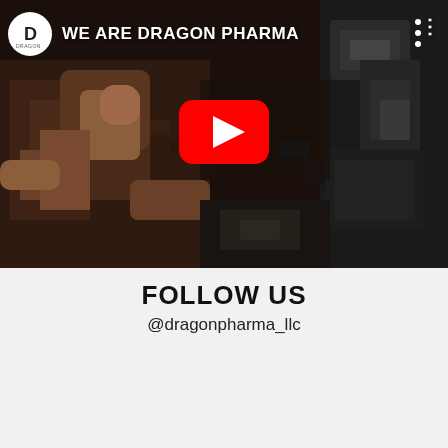[Figure (screenshot): YouTube video thumbnail for 'WE ARE DRAGON PHARMA' showing a muscular figure in a dark, gritty setting with a large red YouTube play button in the center. Dragon Pharma logo (white circle with D) in upper left, video title text in upper area, three-dot menu in upper right.]
FOLLOW US
@dragonpharma_llc